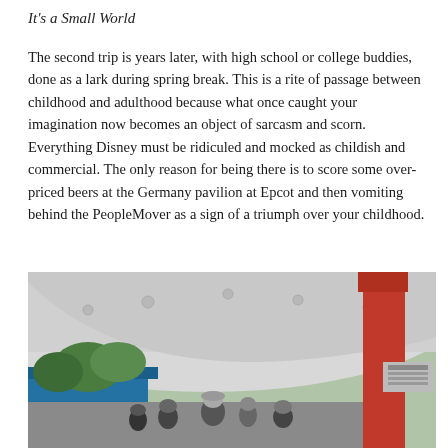It's a Small World
The second trip is years later, with high school or college buddies, done as a lark during spring break. This is a rite of passage between childhood and adulthood because what once caught your imagination now becomes an object of sarcasm and scorn. Everything Disney must be ridiculed and mocked as childish and commercial. The only reason for being there is to score some over-priced beers at the Germany pavilion at Epcot and then vomiting behind the PeopleMover as a sign of a triumph over your childhood.
[Figure (photo): Outdoor photo of a Disney theme park area showing a large white curved canopy structure with a red pillar support, blue signage/structure visible on the left, trees in background, and people/visitors visible below in the foreground.]